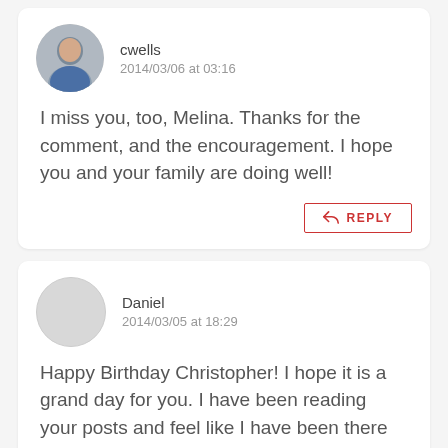cwells
2014/03/06 at 03:16
I miss you, too, Melina. Thanks for the comment, and the encouragement. I hope you and your family are doing well!
REPLY
Daniel
2014/03/05 at 18:29
Happy Birthday Christopher! I hope it is a grand day for you. I have been reading your posts and feel like I have been there